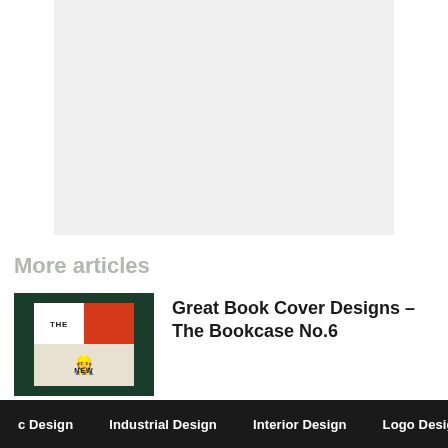[Figure (photo): Light gray placeholder image area, approximately 340x235px centered at top of page]
More articles
[Figure (illustration): Book cover thumbnail on dark green background showing 'THE NEW' text with astronaut figure, red and white design elements]
Great Book Cover Designs – The Bookcase No.6
c Design   Industrial Design   Interior Design   Logo Design   Pac